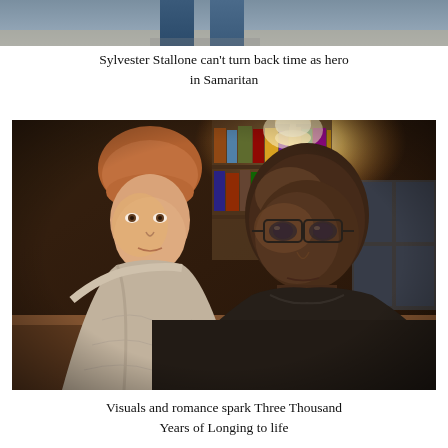[Figure (photo): Partial image at top of page showing lower legs/feet of a person, cropped — appears to be a still from the movie Samaritan]
Sylvester Stallone can't turn back time as hero in Samaritan
[Figure (photo): Two people sitting together — a pale woman with short reddish hair wearing a grey knit wrap/cardigan, and a bald Black man in a dark shirt, sitting on a sofa. Warm, dim indoor lighting with bookshelves visible in background. Still from the film Three Thousand Years of Longing.]
Visuals and romance spark Three Thousand Years of Longing to life